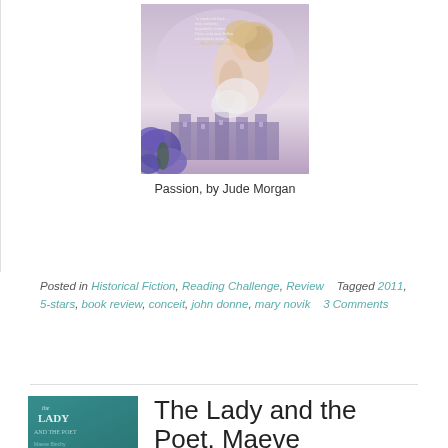[Figure (photo): Book cover of 'Passion' by Jude Morgan — a painterly image of a reclining woman with flowing hair and purple flowers, with a building in the background]
Passion, by Jude Morgan
Posted in Historical Fiction, Reading Challenge, Review   Tagged 2011, 5-stars, book review, conceit, john donne, mary novik   3 Comments
[Figure (photo): Book cover of 'The Lady and the Poet' — teal/blue cover with partial title visible]
The Lady and the Poet, Maeve